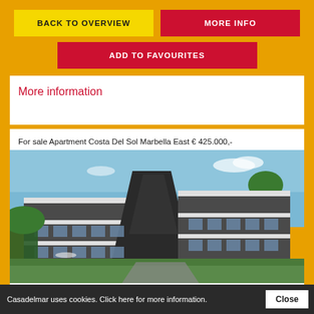BACK TO OVERVIEW
MORE INFO
ADD TO FAVOURITES
More information
For sale Apartment Costa Del Sol Marbella East € 425.000,-
[Figure (photo): Exterior photo of a modern luxury apartment complex with angular white and dark grey facade, green lawn in foreground, blue sky in background, located in Marbella East, Costa Del Sol]
Price € 425.000,-
Casadelmar uses cookies. Click here for more information.
Close